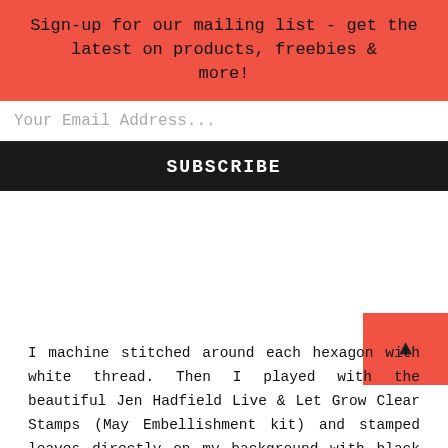Sign-up for our mailing list - get the latest on products, freebies & more!
Your Email Address...
SUBSCRIBE
I machine stitched around each hexagon with white thread. Then I played with the beautiful Jen Hadfield Live & Let Grow Clear Stamps (May Embellishment kit) and stamped leaves directly on my background with black ink.